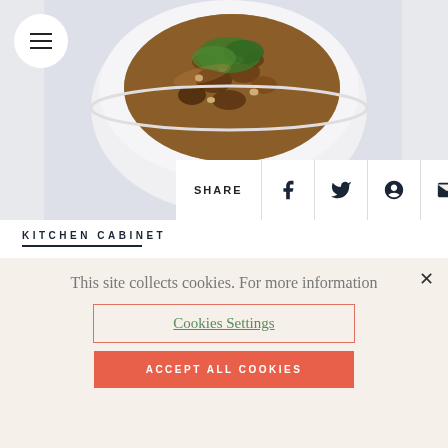[Figure (photo): Overhead photo of a bowl of chicken curry with garnish on a light background, with social sharing bar overlay]
KITCHEN CABINET
RUTH REICHL'S CHICKEN CURRY
This site collects cookies. For more information
Cookies Settings
ACCEPT ALL COOKIES